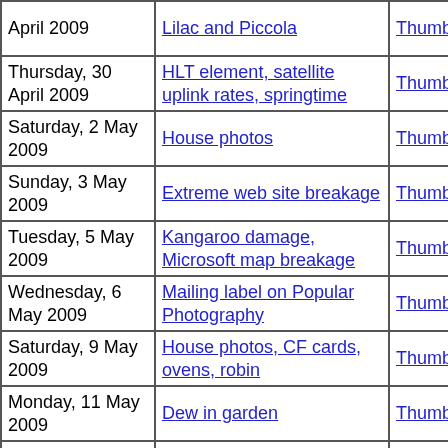| Date | Title | Thumbnails | Small photos | diary |
| --- | --- | --- | --- | --- |
| April 2009 | Lilac and Piccola | Thumbnails | Small photos | diary |
| Thursday, 30 April 2009 | HLT element, satellite uplink rates, springtime | Thumbnails | Small photos | diary |
| Saturday, 2 May 2009 | House photos | Thumbnails | Small photos | diary |
| Sunday, 3 May 2009 | Extreme web site breakage | Thumbnails | Small photos | diary |
| Tuesday, 5 May 2009 | Kangaroo damage, Microsoft map breakage | Thumbnails | Small photos | diary |
| Wednesday, 6 May 2009 | Mailing label on Popular Photography | Thumbnails | Small photos | diary |
| Saturday, 9 May 2009 | House photos, CF cards, ovens, robin | Thumbnails | Small photos | diary |
| Monday, 11 May 2009 | Dew in garden | Thumbnails | Small photos | diary |
| Tuesday, 12 May 2009 | Garden and horses in autumn, road traffic stupidity, plants, first shots with Olympus E-30 | Thumbnails | Small photos | diary |